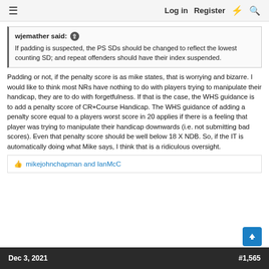≡   Log in   Register   ⚡   🔍
wjemather said: ↑

If padding is suspected, the PS SDs should be changed to reflect the lowest counting SD; and repeat offenders should have their index suspended.
Padding or not, if the penalty score is as mike states, that is worrying and bizarre. I would like to think most NRs have nothing to do with players trying to manipulate their handicap, they are to do with forgetfulness. If that is the case, the WHS guidance is to add a penalty score of CR+Course Handicap. The WHS guidance of adding a penalty score equal to a players worst score in 20 applies if there is a feeling that player was trying to manipulate their handicap downwards (i.e. not submitting bad scores). Even that penalty score should be well below 18 X NDB. So, if the IT is automatically doing what Mike says, I think that is a ridiculous oversight.
👍 mikejohnchapman and IanMcC
Dec 3, 2021   #1,565